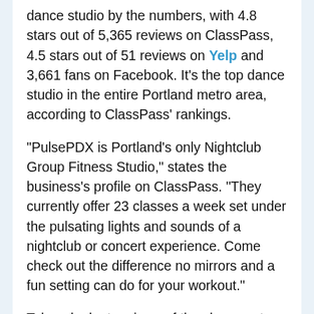dance studio by the numbers, with 4.8 stars out of 5,365 reviews on ClassPass, 4.5 stars out of 51 reviews on Yelp and 3,661 fans on Facebook. It's the top dance studio in the entire Portland metro area, according to ClassPass' rankings.
"PulsePDX is Portland's only Nightclub Group Fitness Studio," states the business's profile on ClassPass. "They currently offer 23 classes a week set under the pulsating lights and sounds of a nightclub or concert experience. Come check out the difference no mirrors and a fun setting can do for your workout."
Take a look at reviews of the classes at PulsePDX on ClassPass here.